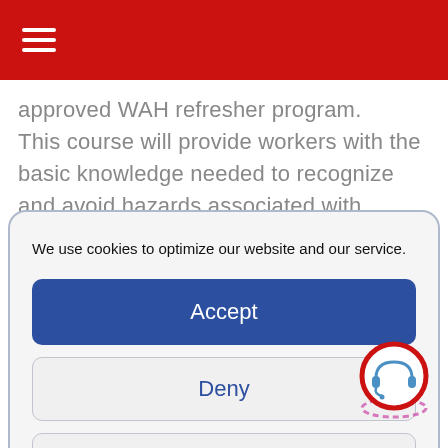☰
approved WAH refresher program. This course will provide workers with the basic knowledge needed to recognize and avoid hazards associated with working at heights and prepare workers to...
We use cookies to optimize our website and our service.
Accept
Deny
Preferences
Privacy Policy
[Figure (illustration): Circular support/headset icon with red outer ring and purple/pink swirl animation ring around it]